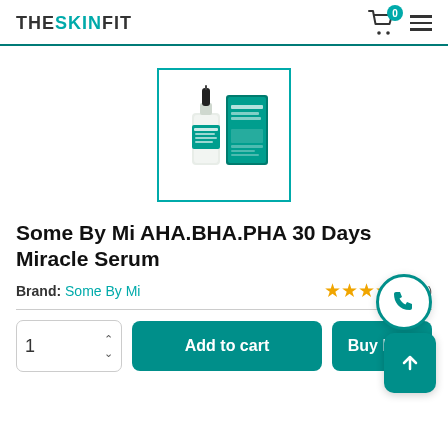THESKINFIT — navigation header with cart (0) and menu icon
[Figure (photo): Some By Mi AHA.BHA.PHA 30 Days Miracle Serum product image showing a dropper bottle and box in teal/white packaging, inside a teal-bordered thumbnail frame]
Some By Mi AHA.BHA.PHA 30 Days Miracle Serum
Brand: Some By Mi
4.5 star rating (reviews)
Quantity: 1  Add to cart  Buy Now